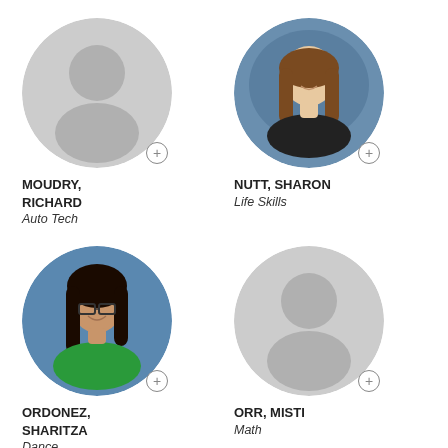[Figure (photo): Placeholder avatar silhouette for MOUDRY, RICHARD]
MOUDRY,
RICHARD
Auto Tech
[Figure (photo): School photo of NUTT, SHARON, woman with long brown hair, blue background]
NUTT, SHARON
Life Skills
[Figure (photo): School photo of ORDONEZ, SHARITZA, woman with glasses and dark wavy hair, green shirt, blue background]
ORDONEZ,
SHARITZA
Dance
[Figure (photo): Placeholder avatar silhouette for ORR, MISTI]
ORR, MISTI
Math